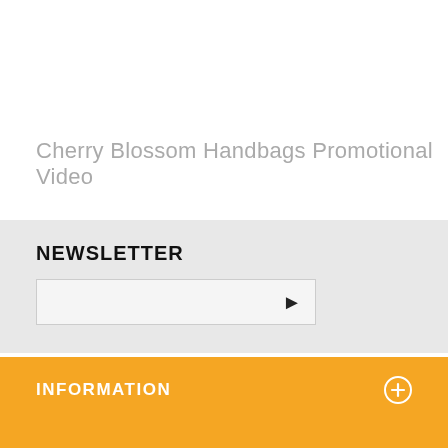Cherry Blossom Handbags Promotional Video
NEWSLETTER
INFORMATION
MY ACCOUNT
FOLLOW US